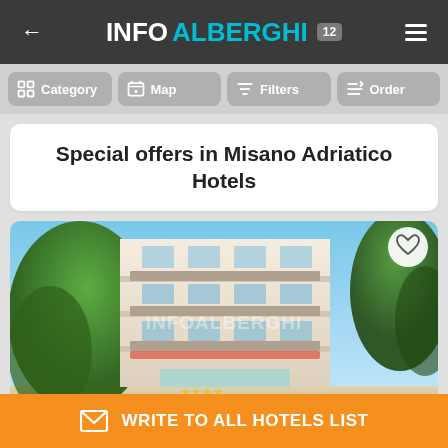← INFOALBERGHI 12 ≡
Category
Map
Filters
Order
Special offers in Misano Adriatico Hotels
[Figure (photo): Hotel building exterior photo with trees, balconies and blue sky, watermarked with INFOALBERGHI]
WRITE TO ALL HOTELS LIST